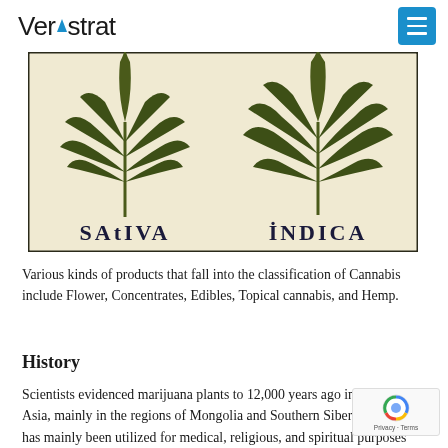Veristrat
[Figure (illustration): Illustration showing two cannabis plant varieties side by side: SATIVA on the left with a tall narrow leaf, and INDICA on the right with a wider leaf, both drawn in dark olive green on a cream background with a dark border.]
Various kinds of products that fall into the classification of Cannabis include Flower, Concentrates, Edibles, Topical cannabis, and Hemp.
History
Scientists evidenced marijuana plants to 12,000 years ago in Central Asia, mainly in the regions of Mongolia and Southern Siberia. Marijuana has mainly been utilized for medical, religious, and spiritual purposes throughout history. The development and usage of marijuana initiated in the 17th century with the production of hemp to create rope, sail material for clothing. The first article on the medical benefits of